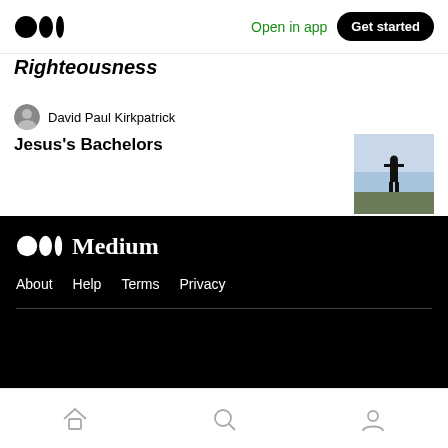Open in app  Get started
Righteousness
David Paul Kirkpatrick
Jesus's Bachelors
[Figure (photo): Thumbnail image of a person standing as a silhouette against a bright sky, viewed from a distance on open ground]
Medium  About  Help  Terms  Privacy